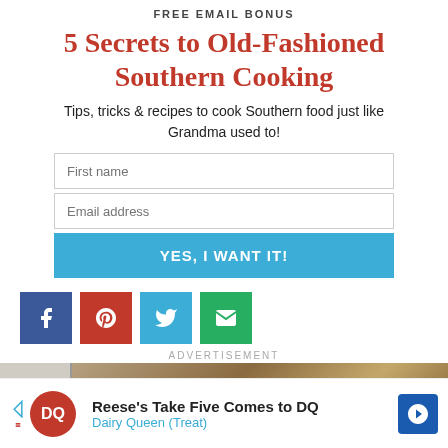FREE EMAIL BONUS
5 Secrets to Old-Fashioned Southern Cooking
Tips, tricks & recipes to cook Southern food just like Grandma used to!
[Figure (screenshot): Email signup form with First name field, Email address field, and YES, I WANT IT! button]
[Figure (infographic): Social sharing buttons: Facebook (blue), Pinterest (red), Twitter (cyan), Email (green)]
ADVERTISEMENT
[Figure (photo): Advertisement image, partial view of objects on a wall including a hook]
[Figure (screenshot): Dairy Queen advertisement: Reese's Take Five Comes to DQ, Dairy Queen (Treat)]